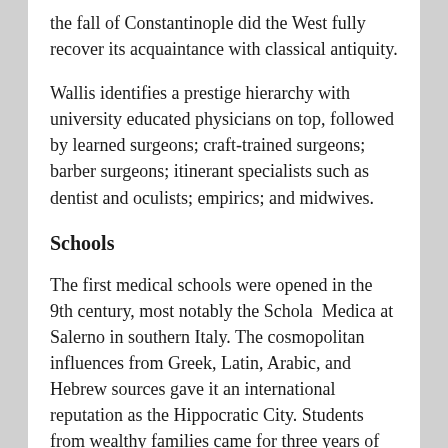the fall of Constantinople did the West fully recover its acquaintance with classical antiquity.
Wallis identifies a prestige hierarchy with university educated physicians on top, followed by learned surgeons; craft-trained surgeons; barber surgeons; itinerant specialists such as dentist and oculists; empirics; and midwives.
Schools
The first medical schools were opened in the 9th century, most notably the Schola Medica at Salerno in southern Italy. The cosmopolitan influences from Greek, Latin, Arabic, and Hebrew sources gave it an international reputation as the Hippocratic City. Students from wealthy families came for three years of preliminary studies and five of medical studies. By the thirteenth century the medical school at Montpellier began to eclipse the Salernitan school. In the 12th century universities were founded in Italy, France and